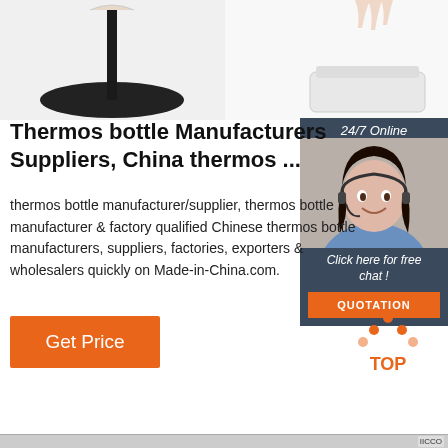[Figure (photo): Product images showing thermos bottle stands/bases - a black circular base on left and a white square base on right, partially cropped at top of page]
Thermos bottle Manufacturers Suppliers, China thermos ...
thermos bottle manufacturer/supplier, thermos bottle manufacturer & factory qualified Chinese thermos bottle manufacturers, suppliers, factories, exporters & wholesalers quickly on Made-in-China.com.
[Figure (photo): Chat widget showing a female customer service agent wearing a headset with text '24/7 Online', 'Click here for free chat!' and an orange QUOTATION button]
[Figure (illustration): Orange 'Get Price' button]
[Figure (illustration): Orange and grey 'TOP' back-to-top navigation button with upward arrow dots icon]